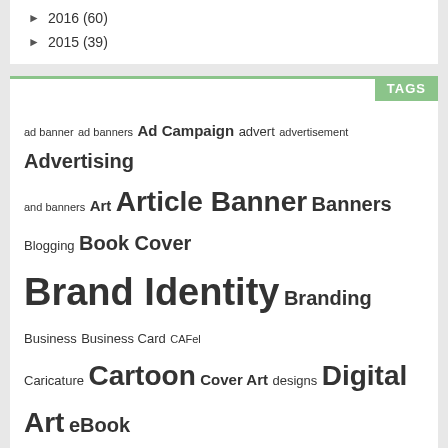► 2016 (60)
► 2015 (39)
TAGS
ad banner ad banners Ad Campaign advert advertisement Advertising and banners Art Article Banner Banners Blogging Book Cover Brand Identity Branding Business Business Card CAFel Caricature Cartoon Cover Art designs Digital Art eBook eCover Email Signature fliers Flyer flyers flier Giveaway Graphic Design graphics Icons ID card Illustration Infographic KFC Labels Line Art Logo Manipulation Music Art News Packaging Rebrand Roll up banners UI
TOP COMMENTATORS
ABOUT ME